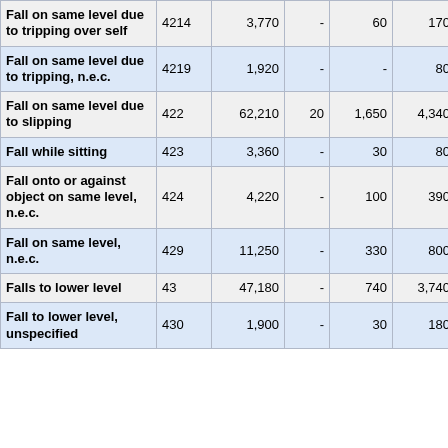| Description | Code | Total |  |  |  |  |
| --- | --- | --- | --- | --- | --- | --- |
| Fall on same level due to tripping over self | 4214 | 3,770 | - | 60 | 170 |  |
| Fall on same level due to tripping, n.e.c. | 4219 | 1,920 | - | - | 80 |  |
| Fall on same level due to slipping | 422 | 62,210 | 20 | 1,650 | 4,340 | 9, |
| Fall while sitting | 423 | 3,360 | - | 30 | 80 |  |
| Fall onto or against object on same level, n.e.c. | 424 | 4,220 | - | 100 | 390 |  |
| Fall on same level, n.e.c. | 429 | 11,250 | - | 330 | 800 | 1, |
| Falls to lower level | 43 | 47,180 | - | 740 | 3,740 | 8, |
| Fall to lower level, unspecified | 430 | 1,900 | - | 30 | 180 |  |